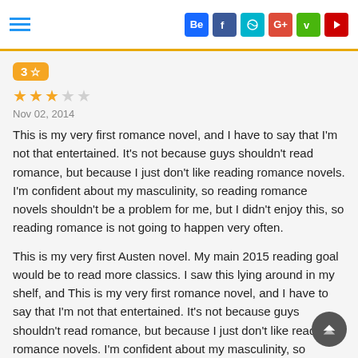Social media icons header with hamburger menu and icons: Be, Facebook, Dribbble, Google+, Vine, YouTube
[Figure (other): Rating badge showing '3' with star outline on orange background, followed by 3 filled stars and 2 empty stars]
Nov 02, 2014
This is my very first romance novel, and I have to say that I'm not that entertained. It's not because guys shouldn't read romance, but because I just don't like reading romance novels. I'm confident about my masculinity, so reading romance novels shouldn't be a problem for me, but I didn't enjoy this, so reading romance is not going to happen very often.
This is my very first Austen novel. My main 2015 reading goal would be to read more classics. I saw this lying around in my shelf, and This is my very first romance novel, and I have to say that I'm not that entertained. It's not because guys shouldn't read romance, but because I just don't like reading romance novels. I'm confident about my masculinity, so reading romance novels shouldn't be a problem for me, but I didn't enjoy this, so reading romance is not going to happen very often.